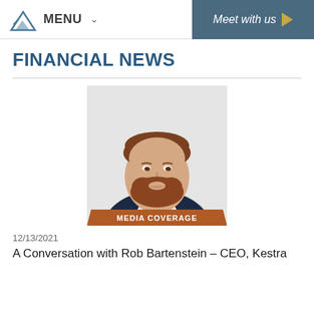MENU   Meet with us
FINANCIAL NEWS
[Figure (photo): Professional headshot of Rob Bartenstein, a man with reddish-brown beard and hair wearing a dark navy blazer over a white shirt, smiling, with a 'MEDIA COVERAGE' banner overlay at the bottom of the photo]
12/13/2021
A Conversation with Rob Bartenstein – CEO, Kestra